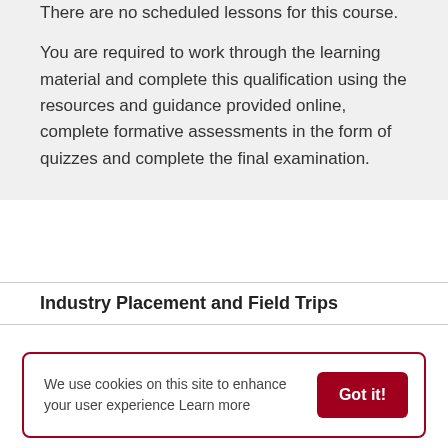There are no scheduled lessons for this course.
You are required to work through the learning material and complete this qualification using the resources and guidance provided online, complete formative assessments in the form of quizzes and complete the final examination.
Industry Placement and Field Trips
We use cookies on this site to enhance your user experience Learn more